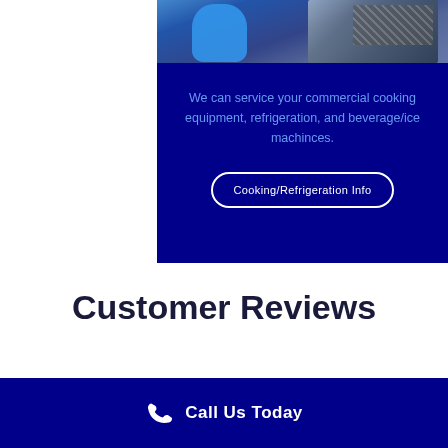[Figure (photo): Technician in blue shirt working on commercial equipment wiring/machinery]
We can service your commercial cooking equipment, refrigeration, and beverage/ice machinces.
Cooking/Refrigeration Info
Customer Reviews
Call Us Today